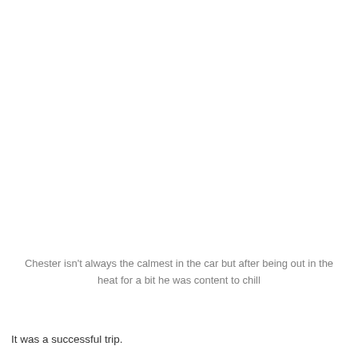Chester isn't always the calmest in the car but after being out in the heat for a bit he was content to chill
It was a successful trip.